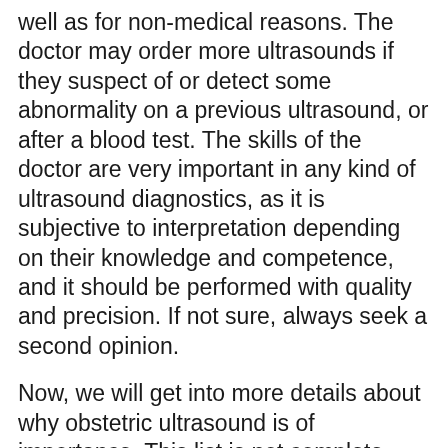well as for non-medical reasons. The doctor may order more ultrasounds if they suspect of or detect some abnormality on a previous ultrasound, or after a blood test. The skills of the doctor are very important in any kind of ultrasound diagnostics, as it is subjective to interpretation depending on their knowledge and competence, and it should be performed with quality and precision. If not sure, always seek a second opinion.
Now, we will get into more details about why obstetric ultrasound is of importance. This list is not complete.
1. Confirmation of pregnancy